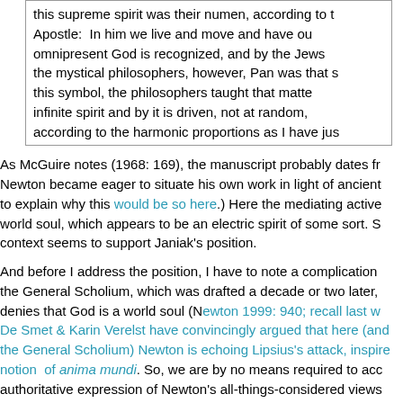this supreme spirit was their numen, according to the Apostle: In him we live and move and have our omnipresent God is recognized, and by the Jews the mystical philosophers, however, Pan was that s this symbol, the philosophers taught that matte infinite spirit and by it is driven, not at random, according to the harmonic proportions as I have jus
As McGuire notes (1968: 169), the manuscript probably dates fr Newton became eager to situate his own work in light of ancient to explain why this would be so here.) Here the mediating active world soul, which appears to be an electric spirit of some sort. S context seems to support Janiak's position.
And before I address the position, I have to note a complication the General Scholium, which was drafted a decade or two later, denies that God is a world soul (Newton 1999: 940; recall last w De Smet & Karin Verelst have convincingly argued that here (and the General Scholium) Newton is echoing Lipsius's attack, inspire notion of anima mundi. So, we are by no means required to acc authoritative expression of Newton's all-things-considered views